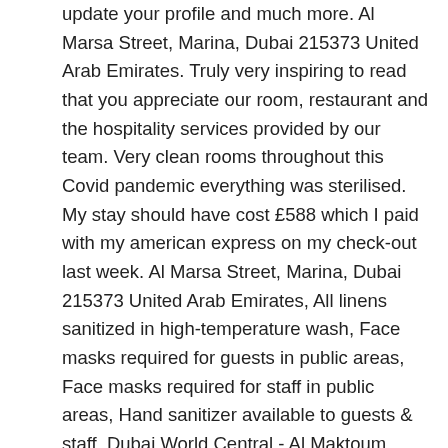update your profile and much more. Al Marsa Street, Marina, Dubai 215373 United Arab Emirates. Truly very inspiring to read that you appreciate our room, restaurant and the hospitality services provided by our team. Very clean rooms throughout this Covid pandemic everything was sterilised. My stay should have cost £588 which I paid with my american express on my check-out last week. Al Marsa Street, Marina, Dubai 215373 United Arab Emirates, All linens sanitized in high-temperature wash, Face masks required for guests in public areas, Face masks required for staff in public areas, Hand sanitizer available to guests & staff, Dubai World Central - Al Maktoum International Airport, Very efficient and helpful staff. Nearby attractions include Rails (0.2 miles), Sovereign art gallery (0.2 miles), and Societe Dubai (0.1 miles). We're thrilled your time with us was so amazing! A special shoutout to Ilyos who works very hard and Prabrakhar on housekeeping. We are really pleased to know that you had a great time while staying with us. Millennium Place Marina, Dubai: See 340 traveller reviews, 366 photos, and cheap rates for Millennium Place Marina, ranked #115 of 733 hotels in Dubai and